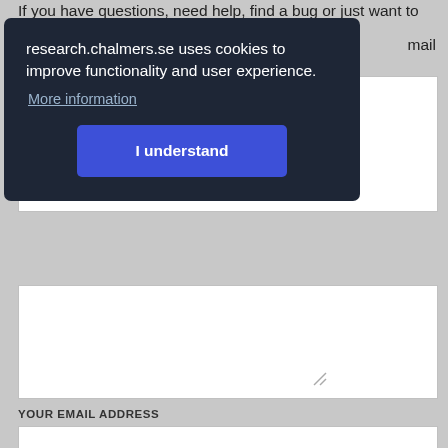If you have questions, need help, find a bug or just want to give
mail
research.chalmers.se uses cookies to improve functionality and user experience.
More information
I understand
YOUR EMAIL ADDRESS
Send feedback
About